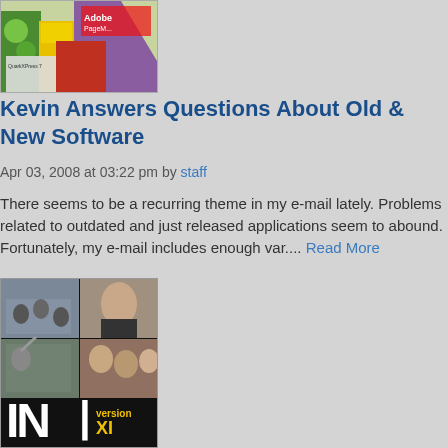[Figure (photo): Stack of software books including Adobe PageMaker and QuarkXPress on colorful background]
Kevin Answers Questions About Old & New Software
Apr 03, 2008 at 03:22 pm by staff
There seems to be a recurring theme in my e-mail lately. Problems related to outdated and just released applications seem to abound. Fortunately, my e-mail includes enough var.... Read More
[Figure (photo): Collage of office/classroom scenes with people working, and InDesign version XI logo at bottom]